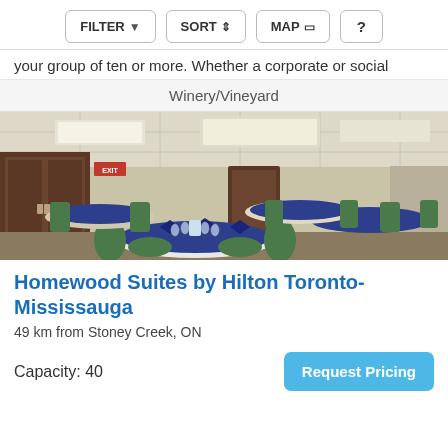FILTER  SORT  MAP  ?
your group of ten or more. Whether a corporate or social
Winery/Vineyard
[Figure (photo): Interior of a hotel banquet/event room with round tables set with blue napkins and glassware, green padded chairs, wood-paneled doors, and drop ceiling with recessed lighting.]
Homewood Suites by Hilton Toronto-Mississauga
49 km from Stoney Creek, ON
Capacity: 40
Request Pricing